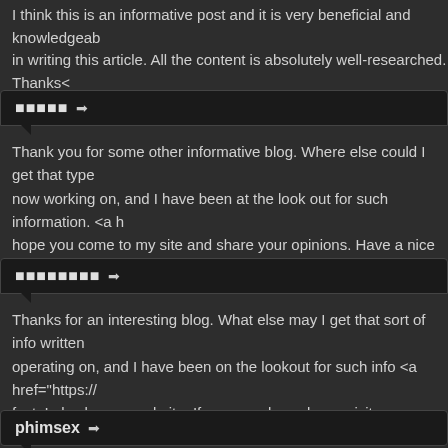I think this is an informative post and it is very beneficial and knowledgeable in writing this article. All the content is absolutely well-researched. Thanks<
 0 0 0 0  →
Thank you for some other informative blog. Where else could I get that type now working on, and I have been at the look out for such information. <a h hope you come to my site and share your opinions. Have a nice day.
 0 0 0 0 0 0 0  →
Thanks for an interesting blog. What else may I get that sort of info written operating on, and I have been on the lookout for such info <a href="https:// fact, I also have a website. If you are okay, please visit once and leave you
phimsex →